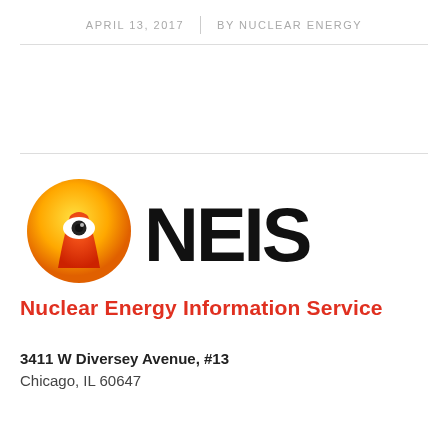APRIL 13, 2017 | BY NUCLEAR ENERGY
[Figure (logo): NEIS Nuclear Energy Information Service logo featuring a stylized nuclear cooling tower with an eye, orange/yellow circle, and bold NEIS text]
Nuclear Energy Information Service
3411 W Diversey Avenue, #13
Chicago, IL 60647